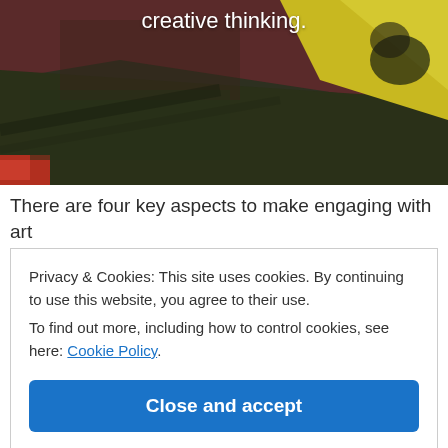[Figure (photo): Abstract oil painting with dark green, dark red/maroon, and bright yellow paint strokes on canvas.]
creative thinking.
There are four key aspects to make engaging with art
Privacy & Cookies: This site uses cookies. By continuing to use this website, you agree to their use.
To find out more, including how to control cookies, see here: Cookie Policy
Close and accept